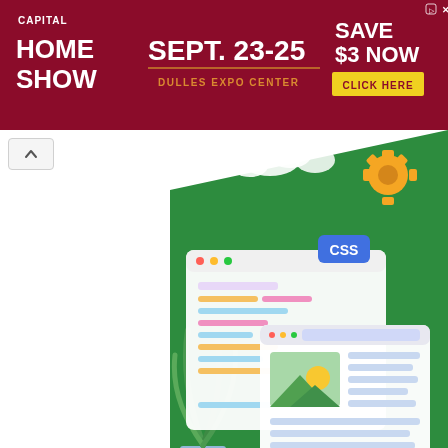[Figure (infographic): Capital Home Show advertisement banner. Red background. Left: 'CAPITAL HOME SHOW' in white bold. Center: 'SEPT. 23-25' large white text, 'DULLES EXPO CENTER' in orange below. Right: 'SAVE $3 NOW' in white, yellow 'CLICK HERE' button.]
[Figure (illustration): CSS/web development themed 3D illustration on a green background. Shows a browser window with colorful UI elements, a floating CSS badge, gear icon, plant, coffee cup, and an image placeholder. Dark laptop or monitor base at bottom.]
ENTERTAINMENT
Hamza Ali Abbasi's